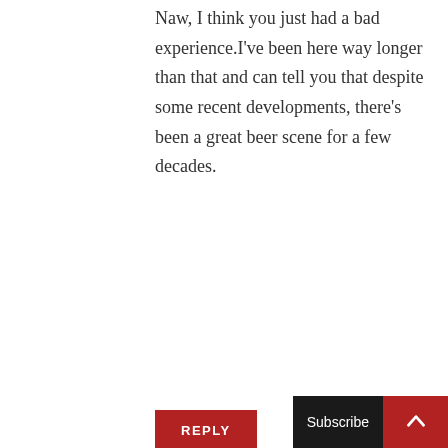Naw, I think you just had a bad experience.I've been here way longer than that and can tell you that despite some recent developments, there's been a great beer scene for a few decades.
REPLY
mikescraftbeer says:
FEBRUARY 23, 2014 AT 11:58 AM
It's a great Summer staple in BC. But Driftwood is doing a ton of great things locally. I think it's about time you made it back to BC and hit up Vancouver though.